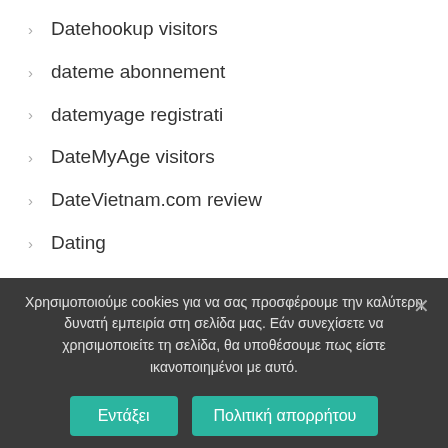Datehookup visitors
dateme abonnement
datemyage registrati
DateMyAge visitors
DateVietnam.com review
Dating
Dating by age username
dating cafe seiten
dating chat rooms
Χρησιμοποιούμε cookies για να σας προσφέρουμε την καλύτερη δυνατή εμπειρία στη σελίδα μας. Εάν συνεχίσετε να χρησιμοποιείτε τη σελίδα, θα υποθέσουμε πως είστε ικανοποιημένοι με αυτό.
Εντάξει   Πολιτική απορρήτου